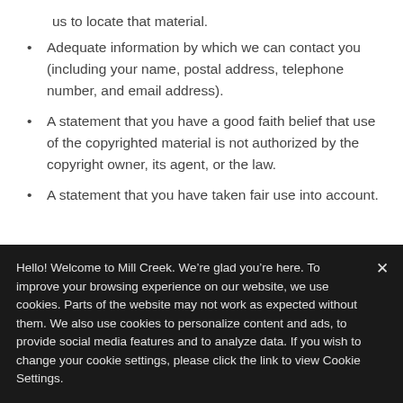us to locate that material.
Adequate information by which we can contact you (including your name, postal address, telephone number, and email address).
A statement that you have a good faith belief that use of the copyrighted material is not authorized by the copyright owner, its agent, or the law.
A statement that you have taken fair use into account.
Hello! Welcome to Mill Creek. We’re glad you’re here. To improve your browsing experience on our website, we use cookies. Parts of the website may not work as expected without them. We also use cookies to personalize content and ads, to provide social media features and to analyze data. If you wish to change your cookie settings, please click the link to view Cookie Settings.